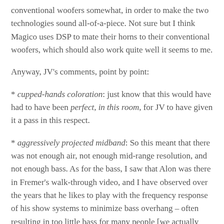conventional woofers somewhat, in order to make the two technologies sound all-of-a-piece. Not sure but I think Magico uses DSP to mate their horns to their conventional woofers, which should also work quite well it seems to me.
Anyway, JV's comments, point by point:
* cupped-hands coloration: just know that this would have had to have been perfect, in this room, for JV to have given it a pass in this respect.
* aggressively projected midband: So this meant that there was not enough air, not enough mid-range resolution, and not enough bass. As for the bass, I saw that Alon was there in Fremer's walk-through video, and I have observed over the years that he likes to play with the frequency response of his show systems to minimize bass overhang – often resulting in too little bass for many people [we actually agree with this approach, but our rooms at shows also get dinged for having a little less bass than what